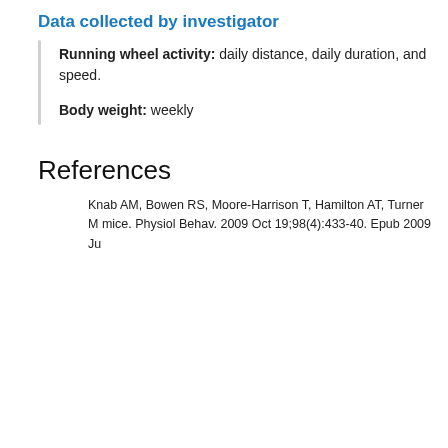Data collected by investigator
Running wheel activity: daily distance, daily duration, and speed.
Body weight: weekly
References
Knab AM, Bowen RS, Moore-Harrison T, Hamilton AT, Turner M mice. Physiol Behav. 2009 Oct 19;98(4):433-40. Epub 2009 Ju